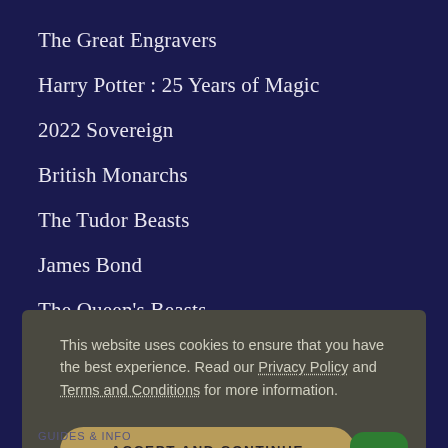The Great Engravers
Harry Potter : 25 Years of Magic
2022 Sovereign
British Monarchs
The Tudor Beasts
James Bond
The Queen's Beasts
Music Legends
This website uses cookies to ensure that you have the best experience. Read our Privacy Policy and Terms and Conditions for more information.
ACCEPT AND CONTINUE
GUIDES & INFO